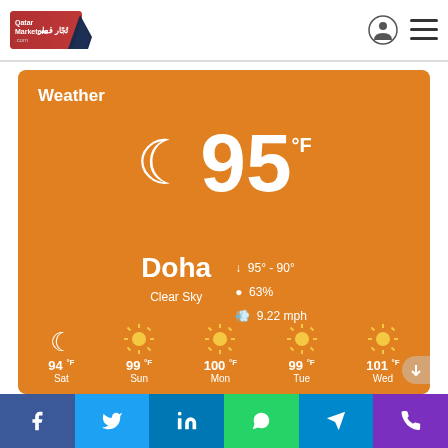[Figure (logo): Qatar Marketers logo with shark fin and Arabic text تُجّار قطر]
[Figure (infographic): Weather widget showing 95°F in Doha, Clear Sky, with crescent moon icon, temp range 95°-90°, humidity 63%, wind 9.22 mph, and 5-day forecast Sat 94°F, Sun 99°F, Mon 100°F, Tue 99°F, Wed 101°F]
[Figure (infographic): Social media share bar with Facebook, Twitter, LinkedIn, WhatsApp, Telegram, Phone icons]